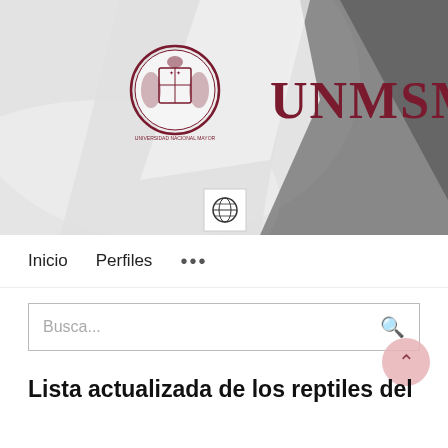[Figure (screenshot): UNMSM university banner with coat of arms logo and 'UNMSM' text on a grey/white background with a person silhouette. Contains a globe icon button at the bottom center.]
Inicio   Perfiles   ...
Busca...
Lista actualizada de los reptiles del